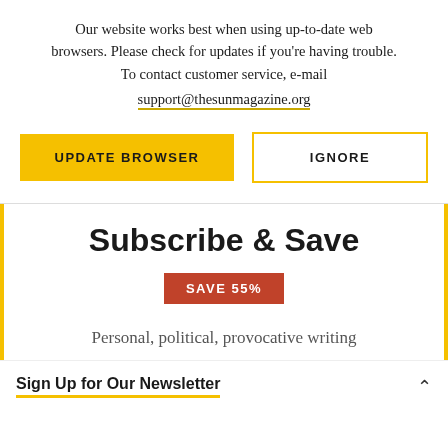Our website works best when using up-to-date web browsers. Please check for updates if you're having trouble. To contact customer service, e-mail support@thesunmagazine.org
UPDATE BROWSER
IGNORE
Subscribe & Save
SAVE 55%
Personal, political, provocative writing
Sign Up for Our Newsletter